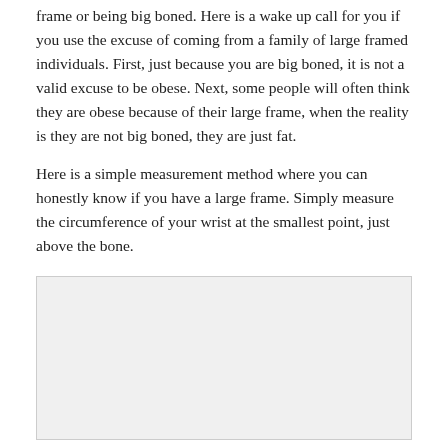frame or being big boned. Here is a wake up call for you if you use the excuse of coming from a family of large framed individuals. First, just because you are big boned, it is not a valid excuse to be obese. Next, some people will often think they are obese because of their large frame, when the reality is they are not big boned, they are just fat.
Here is a simple measurement method where you can honestly know if you have a large frame. Simply measure the circumference of your wrist at the smallest point, just above the bone.
[Figure (photo): Gray/light background image placeholder box, no visible content]